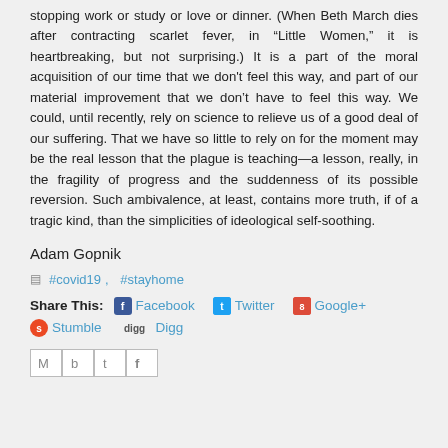stopping work or study or love or dinner. (When Beth March dies after contracting scarlet fever, in “Little Women,” it is heartbreaking, but not surprising.) It is a part of the moral acquisition of our time that we don’t feel this way, and part of our material improvement that we don’t have to feel this way. We could, until recently, rely on science to relieve us of a good deal of our suffering. That we have so little to rely on for the moment may be the real lesson that the plague is teaching—a lesson, really, in the fragility of progress and the suddenness of its possible reversion. Such ambivalence, at least, contains more truth, if of a tragic kind, than the simplicities of ideological self-soothing.
Adam Gopnik
#covid19, #stayhome
Share This: Facebook Twitter Google+ Stumble Digg